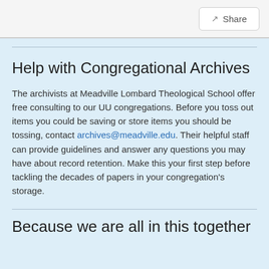Share
Help with Congregational Archives
The archivists at Meadville Lombard Theological School offer free consulting to our UU congregations. Before you toss out items you could be saving or store items you should be tossing, contact archives@meadville.edu. Their helpful staff can provide guidelines and answer any questions you may have about record retention. Make this your first step before tackling the decades of papers in your congregation's storage.
Because we are all in this together